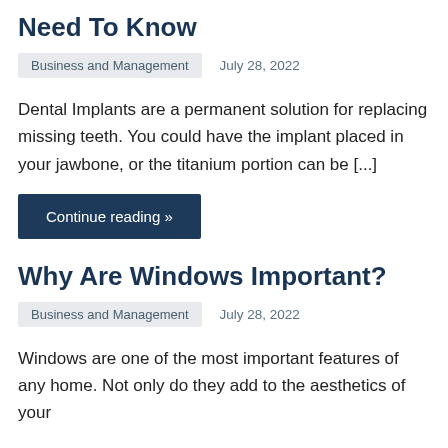Need To Know
Business and Management   July 28, 2022
Dental Implants are a permanent solution for replacing missing teeth. You could have the implant placed in your jawbone, or the titanium portion can be [...]
Continue reading »
Why Are Windows Important?
Business and Management   July 28, 2022
Windows are one of the most important features of any home. Not only do they add to the aesthetics of your